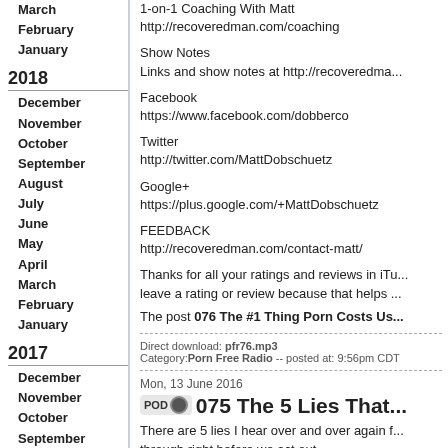March
February
January
2018
December
November
October
September
August
July
June
May
April
March
February
January
2017
December
November
October
September
August
July
June
May
April
March
February
January
2016
1-on-1 Coaching With Matt
http://recoveredman.com/coaching
Show Notes
Links and show notes at http://recoveredma...
Facebook
https://www.facebook.com/dobberco
Twitter
http://twitter.com/MattDobschuetz
Google+
https://plus.google.com/+MattDobschuetz
FEEDBACK
http://recoveredman.com/contact-matt/
Thanks for all your ratings and reviews in iTu... leave a rating or review because that helps ...
The post 076 The #1 Thing Porn Costs Us...
Direct download: pfr76.mp3
Category: Porn Free Radio -- posted at: 9:56pm CDT
Mon, 13 June 2016
075 The 5 Lies That...
There are 5 lies I hear over and over again f... through right before we act out.
In this episode, I label the 5 lies and share 5...
Contibute to Pornfree Radio
http://recoveredman.com/contribute